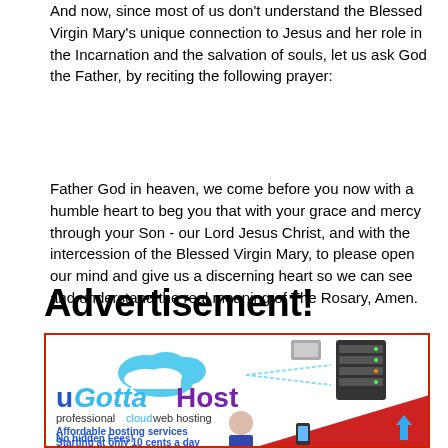And now, since most of us don't understand the Blessed Virgin Mary's unique connection to Jesus and her role in the Incarnation and the salvation of souls, let us ask God the Father, by reciting the following prayer:
Father God in heaven, we come before you now with a humble heart to beg you that with your grace and mercy through your Son - our Lord Jesus Christ, and with the intercession of the Blessed Virgin Mary, to please open our mind and give us a discerning heart so we can see and understand the real meaning of The Rosary, Amen.
Advertisement!
[Figure (illustration): uGottaHost advertisement banner showing cloud web hosting service with logo, server graphics, mobile devices, and text: 'professional cloud web hosting', 'Affordable hosting services Starting at only 10 cents a day No hidden Fees!']